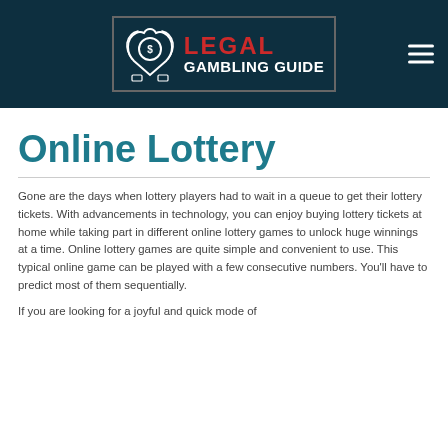[Figure (logo): Legal Gambling Guide logo with hands holding a coin and the text LEGAL in red and GAMBLING GUIDE in white on a dark background]
Online Lottery
Gone are the days when lottery players had to wait in a queue to get their lottery tickets. With advancements in technology, you can enjoy buying lottery tickets at home while taking part in different online lottery games to unlock huge winnings at a time. Online lottery games are quite simple and convenient to use. This typical online game can be played with a few consecutive numbers. You'll have to predict most of them sequentially.
If you are looking for a joyful and quick mode of